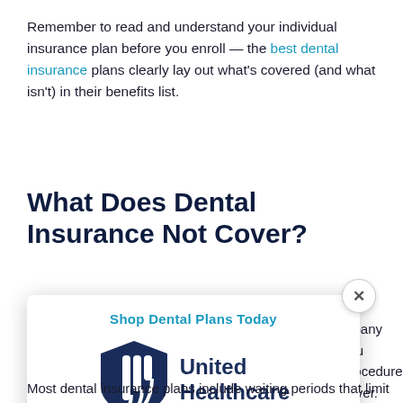Remember to read and understand your individual insurance plan before you enroll — the best dental insurance plans clearly lay out what's covered (and what isn't) in their benefits list.
What Does Dental Insurance Not Cover?
...mpany you ... procedures ... cover. Some ... l see include:
[Figure (other): Modal advertisement popup with close (×) button, header 'Shop Dental Plans Today' in teal, United Healthcare logo, and a dark blue 'GET STARTED' button. The modal partially overlaps the main page content.]
...urance providers, ...ovide coverage for ...conditions that you have when you sign up for your plan. Most dental insurance plans include waiting periods that limit